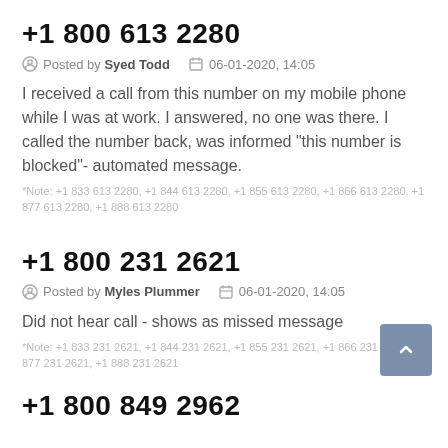+1 800 613 2280
Posted by Syed Todd   06-01-2020, 14:05
I received a call from this number on my mobile phone while I was at work. I answered, no one was there. I called the number back, was informed "this number is blocked"- automated message.
*Note: +1 833 613 2280, +1 844 613 2280, +1 855 613 2280, +1 866 613 2280, +1 877 613 2280, +1 888 613 2280
+1 800 231 2621
Posted by Myles Plummer   06-01-2020, 14:05
Did not hear call - shows as missed message
*Note: +1 833 231 2621, +1 844 231 2621, +1 855 231 2621, +1 866 231 2621, +1 877 231 2621, +1 888 231 2621
+1 800 849 2962